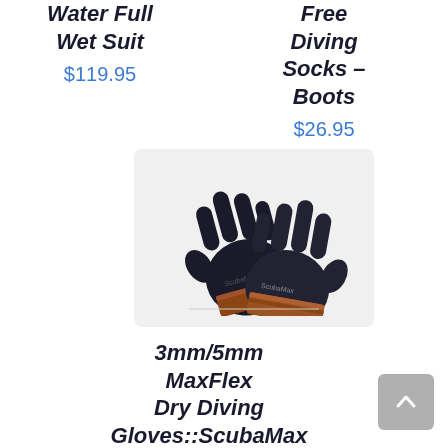Water Full Wet Suit
$119.95
Free Diving Socks – Boots
$26.95
[Figure (photo): A pair of black diving gloves with orange/brown wrist trim on a light grey background]
3mm/5mm MaxFlex Dry Diving Gloves::ScubaMax